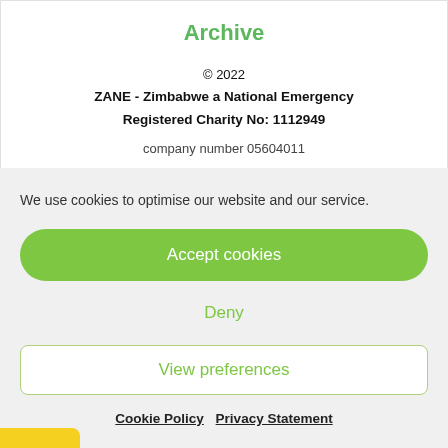Archive
© 2022
ZANE - Zimbabwe a National Emergency
Registered Charity No: 1112949
company number 05604011
We use cookies to optimise our website and our service.
Accept cookies
Deny
View preferences
Cookie Policy   Privacy Statement